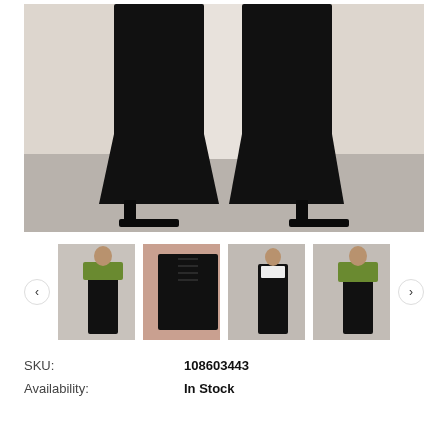[Figure (photo): Close-up photo of a model wearing black faux leather flared/wide-leg trousers with black strappy heeled sandals, standing against a light grey/white background. Only the lower body (from waist down) is visible.]
[Figure (photo): Four thumbnail images of the same black faux leather flared trousers: (1) full-length front view with green cardigan, (2) close-up of waistband/lace-up detail, (3) front view against grey wall, (4) front view with green cardigan against grey wall. Navigation arrows on left and right.]
SKU:
108603443
Availability:
In Stock